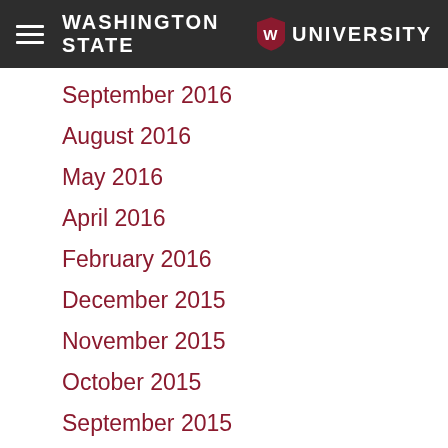Washington State University
September 2016
August 2016
May 2016
April 2016
February 2016
December 2015
November 2015
October 2015
September 2015
August 2015
July 2015